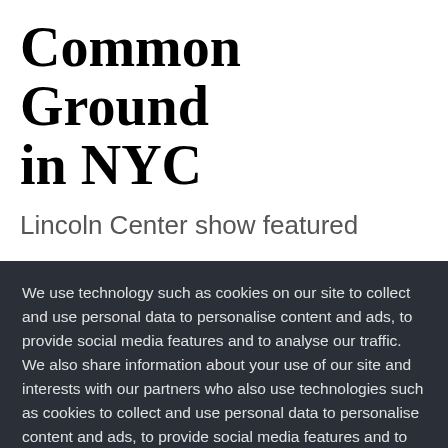Common Ground in NYC
Lincoln Center show featured
We use technology such as cookies on our site to collect and use personal data to personalise content and ads, to provide social media features and to analyse our traffic. We also share information about your use of our site and interests with our partners who also use technologies such as cookies to collect and use personal data to personalise content and ads, to provide social media features and to analyse our traffic on our site and across the internet. You can always change your mind and revisit your choices.
Manage Options | I Accept